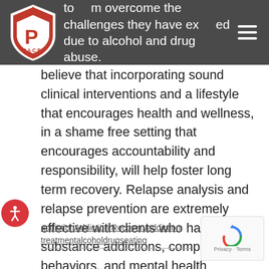to [logo] m overcome the challenges they have experienced due to alcohol and drug abuse.
We believe that incorporating sound clinical interventions and a lifestyle that encourages health and wellness, in a shame free setting that encourages accountability and responsibility, will help foster long term recovery. Relapse analysis and relapse prevention are extremely effective with clients who have substance addictions, compulsive behaviors, and mental health disorders. That is why relapse prevention is an essential component of our men's addiction treatment program.
addictionAddiction Recoveryaddiction treatmentalcoholdrugseating
[Figure (logo): PACE shield logo — red and white shield with a letter P and star on top]